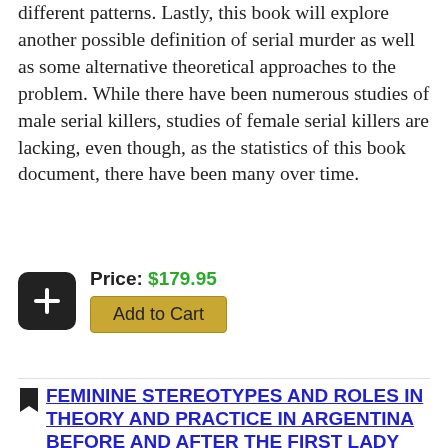different patterns. Lastly, this book will explore another possible definition of serial murder as well as some alternative theoretical approaches to the problem. While there have been numerous studies of male serial killers, studies of female serial killers are lacking, even though, as the statistics of this book document, there have been many over time.
Price: $179.95
Add to Cart
FEMININE STEREOTYPES AND ROLES IN THEORY AND PRACTICE IN ARGENTINA BEFORE AND AFTER THE FIRST LADY EVA PERÓN